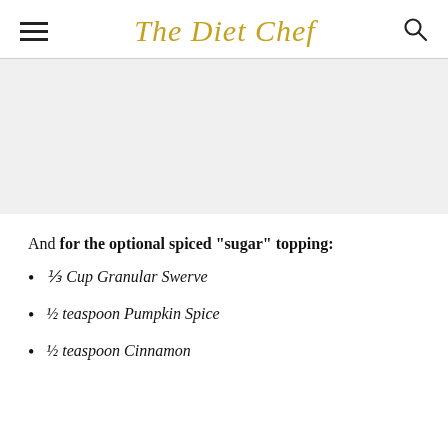The Diet Chef
[Figure (photo): Large food photo placeholder area (light grey background)]
And for the optional spiced "sugar" topping:
⅓ Cup Granular Swerve
½ teaspoon Pumpkin Spice
½ teaspoon Cinnamon